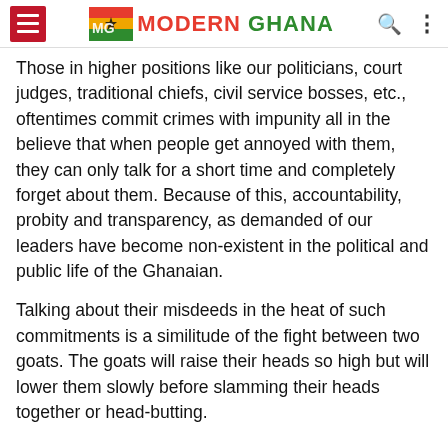Modern Ghana
Those in higher positions like our politicians, court judges, traditional chiefs, civil service bosses, etc., oftentimes commit crimes with impunity all in the believe that when people get annoyed with them, they can only talk for a short time and completely forget about them. Because of this, accountability, probity and transparency, as demanded of our leaders have become non-existent in the political and public life of the Ghanaian.
Talking about their misdeeds in the heat of such commitments is a similitude of the fight between two goats. The goats will raise their heads so high but will lower them slowly before slamming their heads together or head-butting.